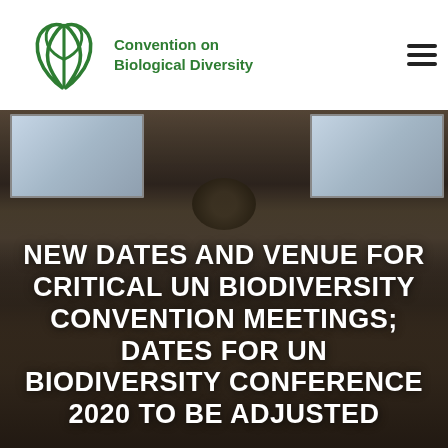[Figure (logo): Convention on Biological Diversity logo — green leaf/plant icon with text]
NEW DATES AND VENUE FOR CRITICAL UN BIODIVERSITY CONVENTION MEETINGS; DATES FOR UN BIODIVERSITY CONFERENCE 2020 TO BE ADJUSTED
[Figure (photo): Conference room filled with attendees seated at desks, two large projection screens visible at the front, a circular emblem at center rear, wood-paneled walls]